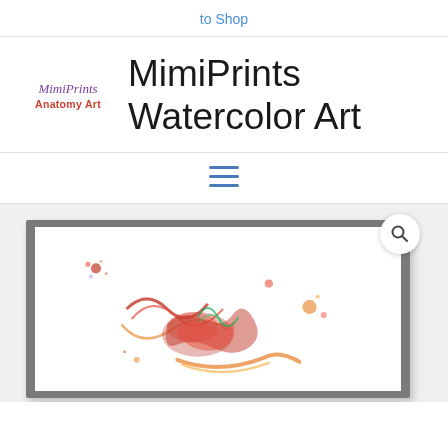to Shop
[Figure (logo): MimiPrints Anatomy Art logo with stylized text]
MimiPrints Watercolor Art
[Figure (other): Hamburger menu icon (three horizontal blue lines)]
[Figure (photo): Framed watercolor anatomy art print showing colorful abstract biological/anatomical illustration with reds, oranges, greens on white background inside a dark gray frame. A search/magnify icon is visible in the top right corner of the image area.]